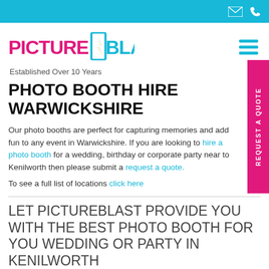[Top navigation bar with email and phone icons]
[Figure (logo): PictureBlast logo with stylized door and flash graphic, text reading PICTURE BLAST in pink and blue]
Established Over 10 Years
PHOTO BOOTH HIRE WARWICKSHIRE
Our photo booths are perfect for capturing memories and add fun to any event in Warwickshire. If you are looking to hire a photo booth for a wedding, birthday or corporate party near to Kenilworth then please submit a request a quote.
To see a full list of locations click here
LET PICTUREBLAST PROVIDE YOU WITH THE BEST PHOTO BOOTH FOR YOU WEDDING OR PARTY IN KENILWORTH